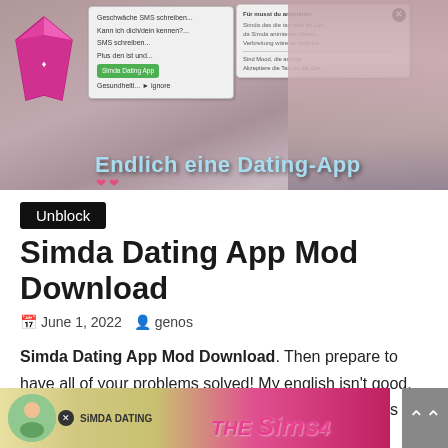[Figure (screenshot): Screenshot of The Sims 4 with a dating app mod interface, showing a phone menu with options and a dialog box. Text overlay reads 'Endlich eine Dating-App' with heart icons and the Sims 4 diamond logo.]
Unblock
Simda Dating App Mod Download
June 1, 2022  genos
Simda Dating App Mod Download. Then prepare to have all of your problems solved! My english isn't good, but i will try to explain you how you must to install this mod.
[Figure (screenshot): Bottom banner screenshot showing Sims 4 dating app mod promotional image with a character and The Sims 4 logo in pink.]